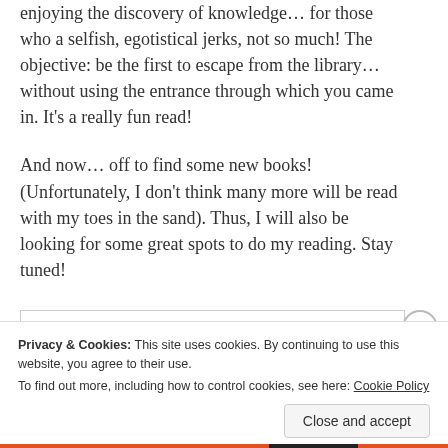enjoying the discovery of knowledge… for those who a selfish, egotistical jerks, not so much! The objective: be the first to escape from the library… without using the entrance through which you came in. It's a really fun read!
And now… off to find some new books! (Unfortunately, I don't think many more will be read with my toes in the sand). Thus, I will also be looking for some great spots to do my reading. Stay tuned!
Privacy & Cookies: This site uses cookies. By continuing to use this website, you agree to their use.
To find out more, including how to control cookies, see here: Cookie Policy